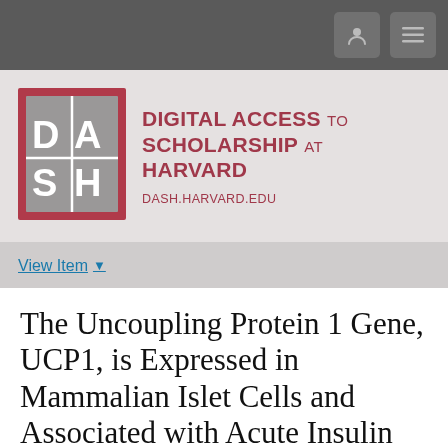[Figure (logo): DASH - Digital Access to Scholarship at Harvard logo with red border and grey square containing D, A, S, H letters]
DIGITAL ACCESS TO SCHOLARSHIP AT HARVARD
DASH.HARVARD.EDU
View Item
The Uncoupling Protein 1 Gene, UCP1, is Expressed in Mammalian Islet Cells and Associated with Acute Insulin Response to Glucose in African American Families from the IRAS